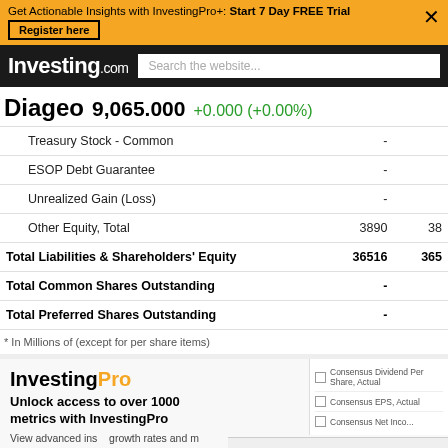Get Actionable Insights with InvestingPro+: Start 7 Day FREE Trial
[Figure (screenshot): Investing.com logo and navigation bar with search box]
Diageo 9,065.000 +0.000 (+0.00%)
| Item | Value1 | Value2 |
| --- | --- | --- |
| Treasury Stock - Common | - |  |
| ESOP Debt Guarantee | - |  |
| Unrealized Gain (Loss) | - |  |
| Other Equity, Total | 3890 | 38 |
| Total Liabilities & Shareholders' Equity | 36516 | 365 |
| Total Common Shares Outstanding | - |  |
| Total Preferred Shares Outstanding | - |  |
* In Millions of (except for per share items)
[Figure (screenshot): InvestingPro promotional section with logo, headline 'Unlock access to over 1000 metrics with InvestingPro', body text, side panel with consensus metrics checkboxes, Go to button, and DGE Comments overlay bar]